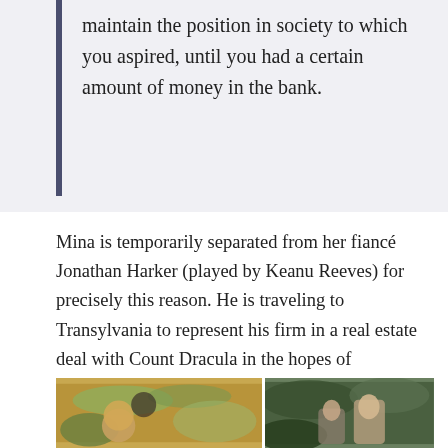maintain the position in society to which you aspired, until you had a certain amount of money in the bank.
Mina is temporarily separated from her fiancé Jonathan Harker (played by Keanu Reeves) for precisely this reason. He is traveling to Transylvania to represent his firm in a real estate deal with Count Dracula in the hopes of advancing his career before they marry. The young lovers say goodbye in a shot composed similarly to The Long Engagement. Mina is later seen pining for Jonathan through a pergola like the female figure in April Love.
[Figure (photo): Two side-by-side film stills: left shows a figure in a garden with yellow/warm tones, right shows a couple in a darker green outdoor setting.]